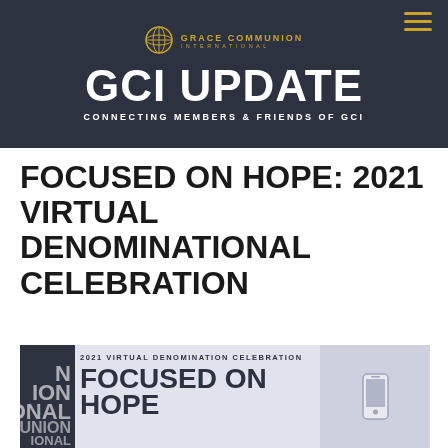GCI UPDATE — CONNECTING MEMBERS & FRIENDS OF GCI
FOCUSED ON HOPE: 2021 Virtual Denominational Celebration
[Figure (photo): Promotional image for 2021 Virtual Denomination Celebration - Focused on Hope, showing dark background with rotated text on left and bold title text on right]